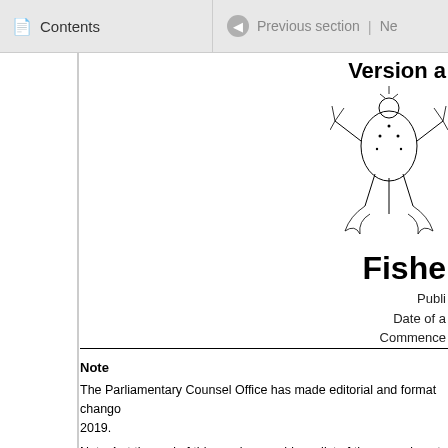Contents | Previous section | Ne...
Fishe...
Publi...
Date of a...
Commence...
[Figure (illustration): New Zealand coat of arms / government emblem illustration showing a figure with plants]
Note
The Parliamentary Counsel Office has made editorial and format changes... 2019.
Note 4 at the end of this version provides a list of the amendments inclu...
Sections 56 to 57J are administered by the Overseas Investment Offi...